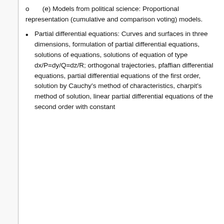o   (e) Models from political science: Proportional representation (cumulative and comparison voting) models.
Partial differential equations: Curves and surfaces in three dimensions, formulation of partial differential equations, solutions of equations, solutions of equation of type dx/P=dy/Q=dz/R; orthogonal trajectories, pfaffian differential equations, partial differential equations of the first order, solution by Cauchy's method of characteristics, charpit's method of solution, linear partial differential equations of the second order with constant